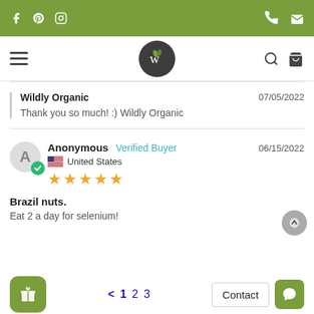Wildly Organic website header with navigation
Wildly Organic
Thank you so much! :) Wildly Organic
07/05/2022
Anonymous  Verified Buyer  06/15/2022
United States
★★★★★
Brazil nuts.
Eat 2 a day for selenium!
< 1 2 3  Contact